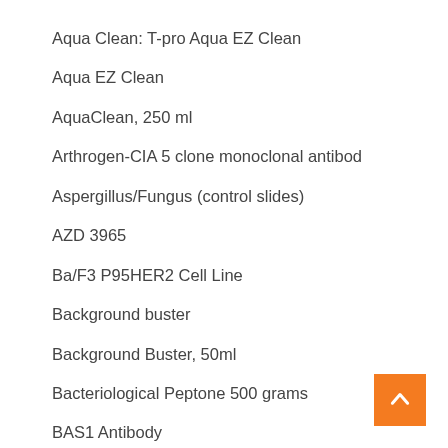Aqua Clean: T-pro Aqua EZ Clean
Aqua EZ Clean
AquaClean, 250 ml
Arthrogen-CIA 5 clone monoclonal antibod
Aspergillus/Fungus (control slides)
AZD 3965
Ba/F3 P95HER2 Cell Line
Background buster
Background Buster, 50ml
Bacteriological Peptone 500 grams
BAS1 Antibody